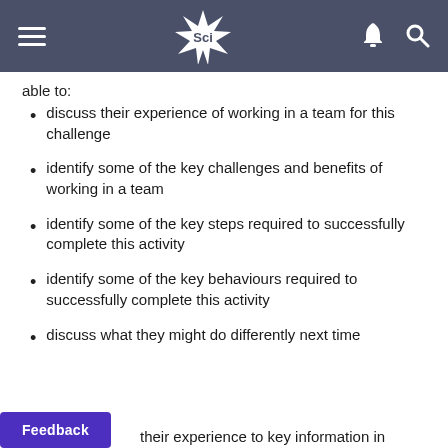Sci
able to:
discuss their experience of working in a team for this challenge
identify some of the key challenges and benefits of working in a team
identify some of the key steps required to successfully complete this activity
identify some of the key behaviours required to successfully complete this activity
discuss what they might do differently next time
their experience to key information in